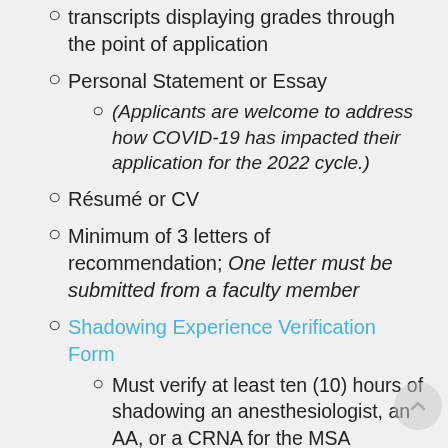transcripts displaying grades through the point of application
Personal Statement or Essay
(Applicants are welcome to address how COVID-19 has impacted their application for the 2022 cycle.)
Résumé or CV
Minimum of 3 letters of recommendation; One letter must be submitted from a faculty member
Shadowing Experience Verification Form
Must verify at least ten (10) hours of shadowing an anesthesiologist, an AA, or a CRNA for the MSA...